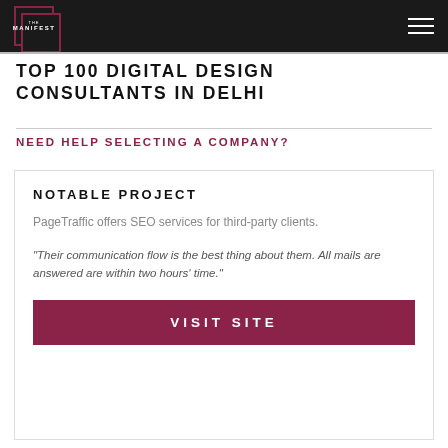THE MANIFEST
TOP 100 DIGITAL DESIGN CONSULTANTS IN DELHI
NEED HELP SELECTING A COMPANY?
NOTABLE PROJECT
PageTraffic offers SEO services for third-party clients.
"Their communication flow is the best thing about them. All mails are answered are within two hours' time."
VISIT SITE